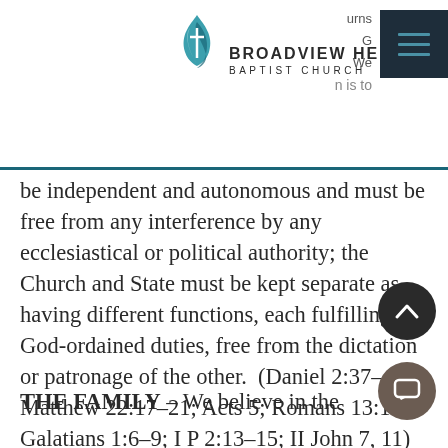Broadview Heights Baptist Church
n is to be independent and autonomous and must be free from any interference by any ecclesiastical or political authority; the Church and State must be kept separate as having different functions, each fulfilling its God-ordained duties, free from the dictation or patronage of the other. (Daniel 2:37-40; Matthew 22:17-21; Acts 5; Romans 13:1-8; Galatians 1:6-9; I P 2:13-15; II John 7, 11)
THE FAMILY – We believe in the traditional family structure, as given